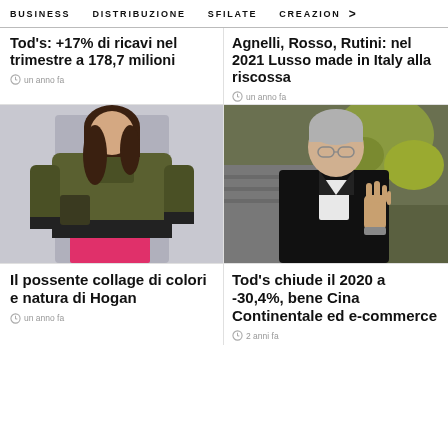BUSINESS   DISTRIBUZIONE   SFILATE   CREAZION  >
Tod's: +17% di ricavi nel trimestre a 178,7 milioni
un anno fa
Agnelli, Rosso, Rutini: nel 2021 Lusso made in Italy alla riscossa
un anno fa
[Figure (photo): Fashion model wearing olive green bomber jacket over pink dress]
[Figure (photo): Elderly man with grey hair and glasses waving hand, wearing black suit, outdoors with green foliage background]
Il possente collage di colori e natura di Hogan
un anno fa
Tod's chiude il 2020 a -30,4%, bene Cina Continentale ed e-commerce
2 anni fa